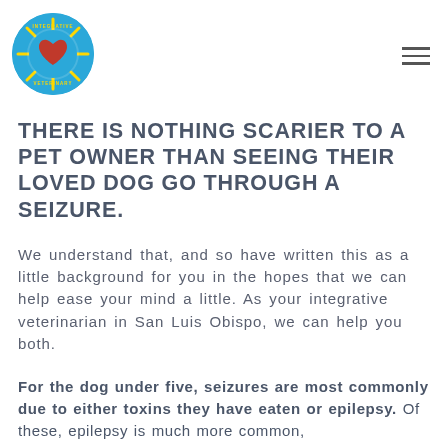[Figure (logo): Circular logo with blue background, yellow sun rays, and red heart in center with text around the border]
THERE IS NOTHING SCARIER TO A PET OWNER THAN SEEING THEIR LOVED DOG GO THROUGH A SEIZURE.
We understand that, and so have written this as a little background for you in the hopes that we can help ease your mind a little. As your integrative veterinarian in San Luis Obispo, we can help you both.
For the dog under five, seizures are most commonly due to either toxins they have eaten or epilepsy. Of these, epilepsy is much more common,